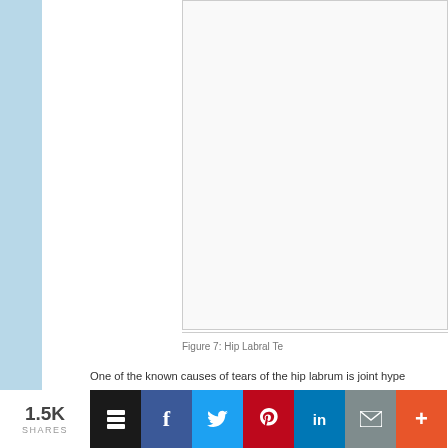[Figure (photo): Hip Labral Tear image (partially visible, cropped at top of page)]
Figure 7: Hip Labral Te...
One of the known causes of tears of the hip labrum is joint hype... pregnancy, when hormonal influences cause ligamentous laxity... Tears of the hip labrum occur in this setting as result of increase... the femoral head. As with hypermobile joints elsewhere in the b... least initially) by strengthening the muscular stabilizers that sur...
I think this is relevant in light of recent media attention on hip in... those practicing poses that take the hip joints into extreme posi... experience, such individuals—who can easily perform extreme ... muscular engagement during extremes of motion. Of particular ... discusses flexibility as a liability for women in yoga. While spen... abnormalities (which are more prevalent in men, and were not t...
1.5K SHARES